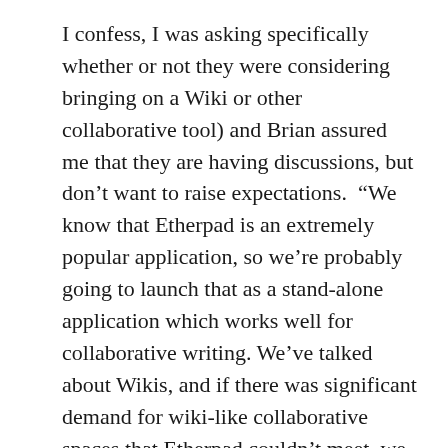I confess, I was asking specifically whether or not they were considering bringing on a Wiki or other collaborative tool) and Brian assured me that they are having discussions, but don't want to raise expectations.  “We know that Etherpad is an extremely popular application, so we’re probably going to launch that as a stand-alone application which works well for collaborative writing. We’ve talked about Wikis, and if there was significant demand for wiki-like collaborative spaces that Etherpad couldn’t meet, we would have to look at that. We’ve been playing with a framework called Cloudron, which is like an advanced version of Sandstorm in the sense that it lets you deploy apps and includes a number of pretty interesting Wiki